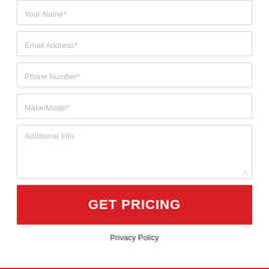Your Name*
Email Address*
Phone Number*
Make/Model*
Additional Info
GET PRICING
Privacy Policy